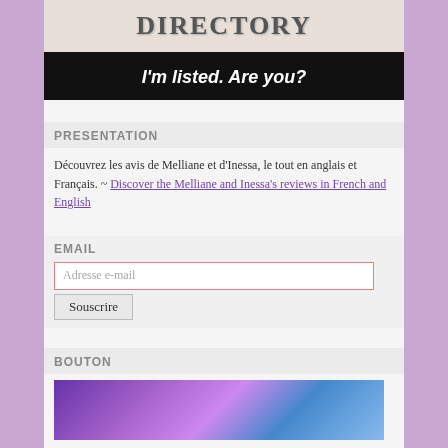[Figure (illustration): Directory banner image with 'DIRECTORY' text on cream/grey background above a black banner with 'I'm listed. Are you?' in white italic text]
PRESENTATION
Découvrez les avis de Melliane et d'Inessa, le tout en anglais et Français. ~ Discover the Melliane and Inessa's reviews in French and English
EMAIL
Adresse e-mail [input field] Souscrire [button]
BOUTON
[Figure (illustration): Colorful purple and blue bouton/button image]